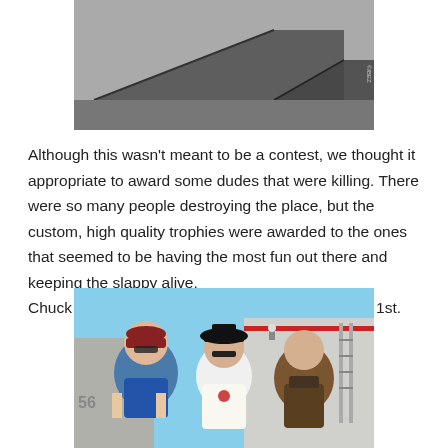[Figure (photo): Photo of a skateboard ramp inside a building, with a small watermark in the corner.]
Although this wasn't meant to be a contest, we thought it appropriate to award some dudes that were killing. There were so many people destroying the place, but the custom, high quality trophies were awarded to the ones that seemed to be having the most fun out there and keeping the slappy alive.
Chuck Hults 3rd, Sicky Nichy 2nd, Ronnie Yerman 1st.
[Figure (photo): Photo of three men standing outside a building. They are smiling and posing together.]